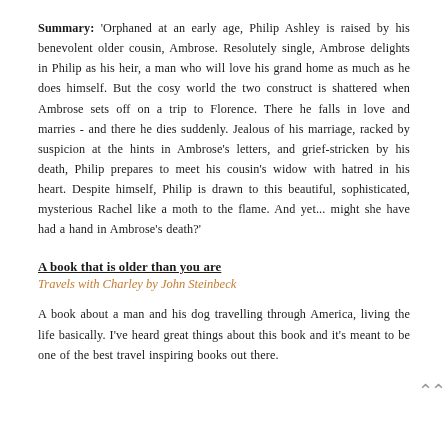Summary: 'Orphaned at an early age, Philip Ashley is raised by his benevolent older cousin, Ambrose. Resolutely single, Ambrose delights in Philip as his heir, a man who will love his grand home as much as he does himself. But the cosy world the two construct is shattered when Ambrose sets off on a trip to Florence. There he falls in love and marries - and there he dies suddenly. Jealous of his marriage, racked by suspicion at the hints in Ambrose's letters, and grief-stricken by his death, Philip prepares to meet his cousin's widow with hatred in his heart. Despite himself, Philip is drawn to this beautiful, sophisticated, mysterious Rachel like a moth to the flame. And yet... might she have had a hand in Ambrose's death?'
A book that is older than you are
Travels with Charley by John Steinbeck
A book about a man and his dog travelling through America, living the life basically. I've heard great things about this book and it's meant to be one of the best travel inspiring books out there.